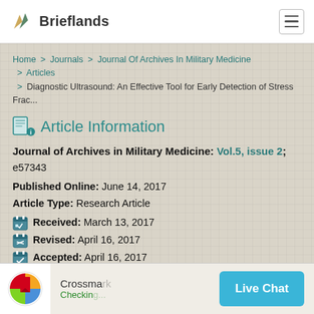Brieflands
Home > Journals > Journal Of Archives In Military Medicine > Articles > Diagnostic Ultrasound: An Effective Tool for Early Detection of Stress Frac...
Article Information
Journal of Archives in Military Medicine: Vol.5, issue 2; e57343
Published Online: June 14, 2017
Article Type: Research Article
Received: March 13, 2017
Revised: April 16, 2017
Accepted: April 16, 2017
DOI: 10.5812/jamm.57343
Crossmark Checking...